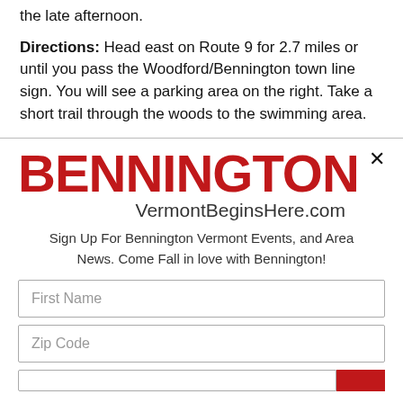the late afternoon.
Directions: Head east on Route 9 for 2.7 miles or until you pass the Woodford/Bennington town line sign. You will see a parking area on the right. Take a short trail through the woods to the swimming area.
BENNINGTON
VermontBeginsHere.com
Sign Up For Bennington Vermont Events, and Area News. Come Fall in love with Bennington!
First Name
Zip Code